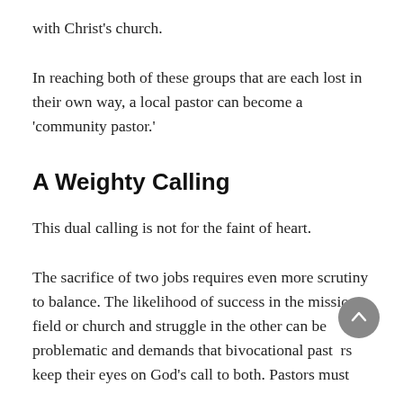with Christ's church.
In reaching both of these groups that are each lost in their own way, a local pastor can become a 'community pastor.'
A Weighty Calling
This dual calling is not for the faint of heart.
The sacrifice of two jobs requires even more scrutiny to balance. The likelihood of success in the mission field or church and struggle in the other can be problematic and demands that bivocational pastors keep their eyes on God's call to both. Pastors must